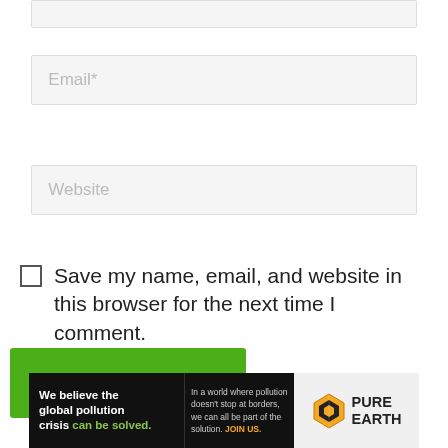[Figure (screenshot): Top partial input field (Name or Comment field, top edge visible)]
Email*
Website
Save my name, email, and website in this browser for the next time I comment.
Post Comment »
[Figure (infographic): Pure Earth advertisement banner. Left black section: 'We believe the global pollution crisis can be solved.' and 'In a world where pollution doesn't stop at borders, we can all be part of the solution. JOIN US.' Right light section: Pure Earth logo with diamond/arrow icon and text PURE EARTH.]